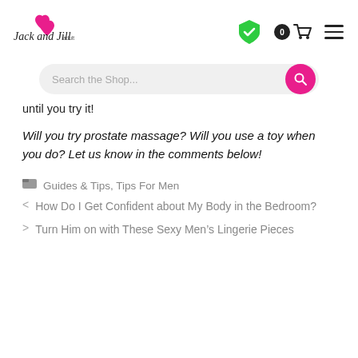Jack and Jill Adult - header with logo, shield icon, cart, and hamburger menu
[Figure (screenshot): Search bar with placeholder text 'Search the Shop...' and pink search button]
until you try it!
Will you try prostate massage? Will you use a toy when you do? Let us know in the comments below!
Guides & Tips, Tips For Men
< How Do I Get Confident about My Body in the Bedroom?
> Turn Him on with These Sexy Men's Lingerie Pieces